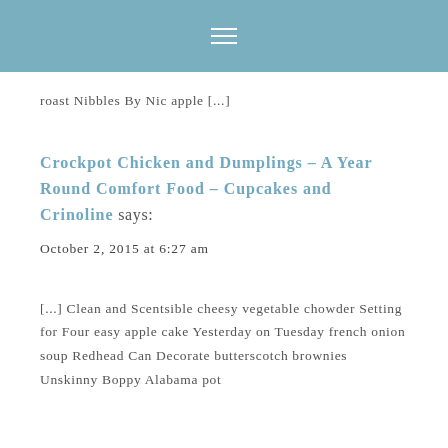≡
roast Nibbles By Nic apple [...]
Crockpot Chicken and Dumplings – A Year Round Comfort Food – Cupcakes and Crinoline says:
October 2, 2015 at 6:27 am
[...] Clean and Scentsible cheesy vegetable chowder Setting for Four easy apple cake Yesterday on Tuesday french onion soup Redhead Can Decorate butterscotch brownies Unskinny Boppy Alabama pot